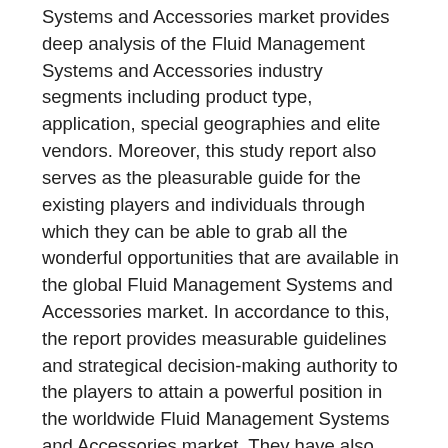Systems and Accessories market provides deep analysis of the Fluid Management Systems and Accessories industry segments including product type, application, special geographies and elite vendors. Moreover, this study report also serves as the pleasurable guide for the existing players and individuals through which they can be able to grab all the wonderful opportunities that are available in the global Fluid Management Systems and Accessories market. In accordance to this, the report provides measurable guidelines and strategical decision-making authority to the players to attain a powerful position in the worldwide Fluid Management Systems and Accessories market. They have also illustrated topmost companies that are operated in the Fluid Management Systems and Accessories market globally with respect to production, sales, distribution channels, manufacturing details of the product. The report also